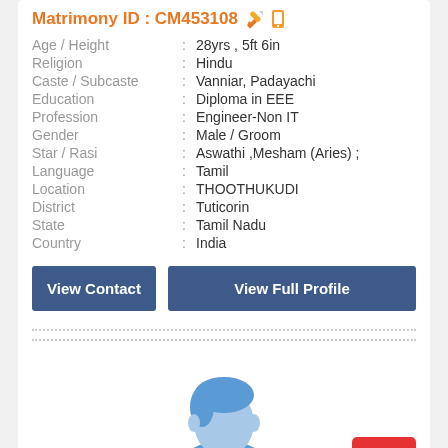Matrimony ID : CM453108
| Field | : | Value |
| --- | --- | --- |
| Age / Height | : | 28yrs , 5ft 6in |
| Religion | : | Hindu |
| Caste / Subcaste | : | Vanniar, Padayachi |
| Education | : | Diploma in EEE |
| Profession | : | Engineer-Non IT |
| Gender | : | Male / Groom |
| Star / Rasi | : | Aswathi ,Mesham (Aries) ; |
| Language | : | Tamil |
| Location | : | THOOTHUKUDI |
| District | : | Tuticorin |
| State | : | Tamil Nadu |
| Country | : | India |
[Figure (illustration): Male profile silhouette avatar icon in blue tones]
View Contact | View Full Profile